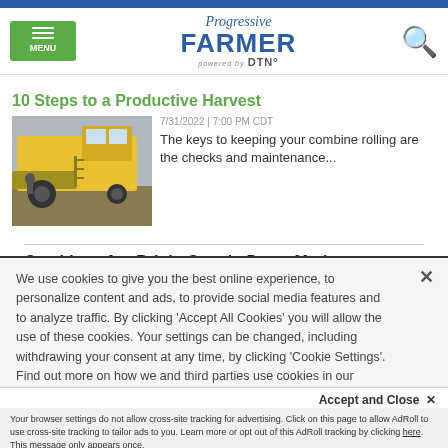Progressive FARMER powered by DTN
10 Steps to a Productive Harvest
7/31/2022 | 7:00 PM CDT
The keys to keeping your combine rolling are the checks and maintenance...
[Figure (photo): Yellow combine harvester in a field]
Combines Are Bright Spot in Down Market
We use cookies to give you the best online experience, to personalize content and ads, to provide social media features and to analyze traffic. By clicking 'Accept All Cookies' you will allow the use of these cookies. Your settings can be changed, including withdrawing your consent at any time, by clicking 'Cookie Settings'. Find out more on how we and third parties use cookies in our Cookie Policy
Accept and Close ×
Your browser settings do not allow cross-site tracking for advertising. Click on this page to allow AdRoll to use cross-site tracking to tailor ads to you. Learn more or opt out of this AdRoll tracking by clicking here. This message only appears once.